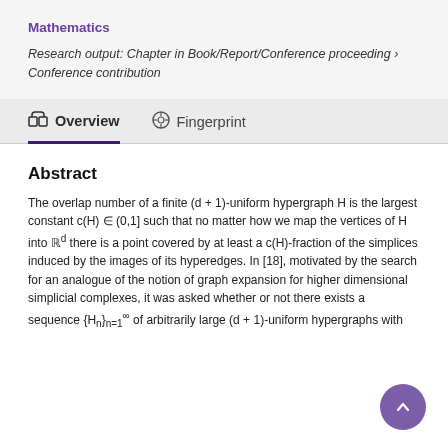Mathematics
Research output: Chapter in Book/Report/Conference proceeding › Conference contribution
Overview   Fingerprint
Abstract
The overlap number of a finite (d + 1)-uniform hypergraph H is the largest constant c(H) ∈ (0,1] such that no matter how we map the vertices of H into ℝd there is a point covered by at least a c(H)-fraction of the simplices induced by the images of its hyperedges. In [18], motivated by the search for an analogue of the notion of graph expansion for higher dimensional simplicial complexes, it was asked whether or not there exists a sequence {Hn}n=1∞ of arbitrarily large (d + 1)-uniform hypergraphs with bounded below c from which inf_n c(Hn) > 0. Using both the...